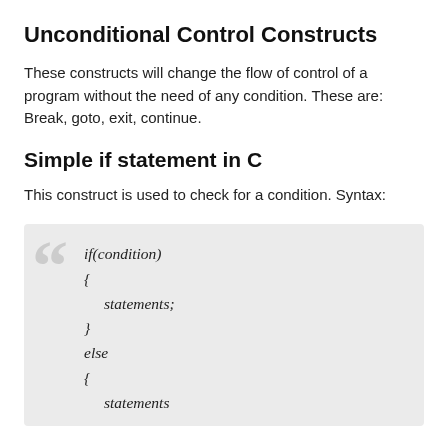Unconditional Control Constructs
These constructs will change the flow of control of a program without the need of any condition. These are: Break, goto, exit, continue.
Simple if statement in C
This construct is used to check for a condition. Syntax: